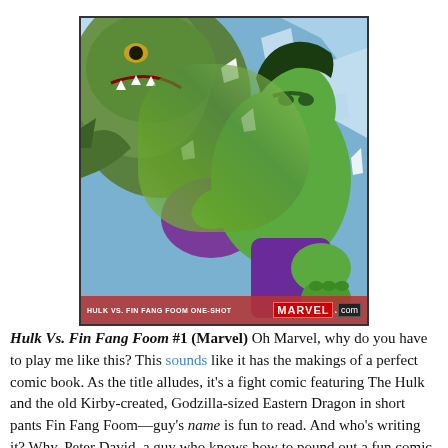[Figure (illustration): Comic book cover image showing Hulk fighting Fin Fang Foom. The Hulk (green, muscular, wearing purple pants) is in combat with Fin Fang Foom (large green dragon-like creature). Background shows shattered ice/debris. Bottom bar reads 'HULK VS. FIN FANG FOOM ONE-SHOT' with MARVEL.com logo on red band.]
Hulk Vs. Fin Fang Foom #1 (Marvel) Oh Marvel, why do you have to play me like this? This sounds like it has the makings of a perfect comic book. As the title alludes, it's a fight comic featuring The Hulk and the old Kirby-created, Godzilla-sized Eastern Dragon in short pants Fin Fang Foom—guy's name is fun to read. And who's writing it? Why, Peter David, a guy who knows how to pound out a fun comic script, and knows a thing or two about writing good Hulk stories. The solicitation promises a "double-sized" one-shot,